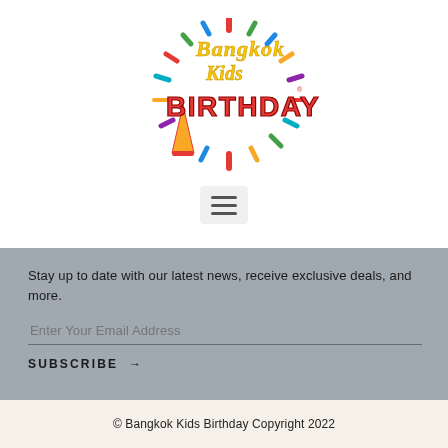[Figure (logo): Bangkok Kids Birthday colorful logo with fireworks/burst design and party hat]
[Figure (other): Hamburger menu button with three horizontal lines on a light gray rounded background]
Stay up to date with our latest news, receive exclusive deals, and more.
Enter Your Email Address
SUBSCRIBE →
© Bangkok Kids Birthday Copyright 2022